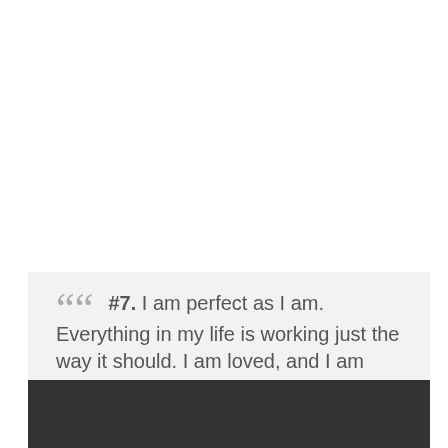““ #7. I am perfect as I am. Everything in my life is working just the way it should. I am loved, and I am love. - Author: Deepak Chopra ””
[Figure (photo): Dark textured background band at the bottom of the page]